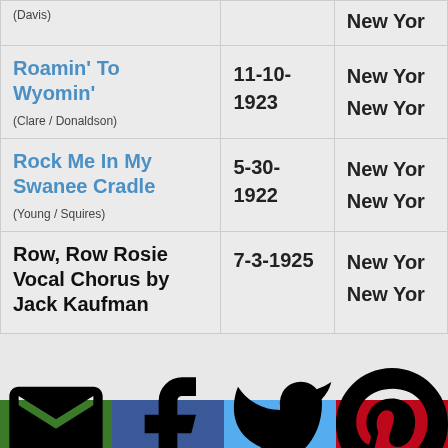| Song Title | Date | Location |
| --- | --- | --- |
| (Davis) |  | New Yor... |
| Roamin' To Wyomin'
(Clare / Donaldson) | 11-10-1923 | New Yor...
New Yor... |
| Rock Me In My Swanee Cradle
(Young / Squires) | 5-30-1922 | New Yor...
New Yor... |
| Row, Row Rosie Vocal Chorus by Jack Kaufman | 7-3-1925 | New Yor...
New Yor... |